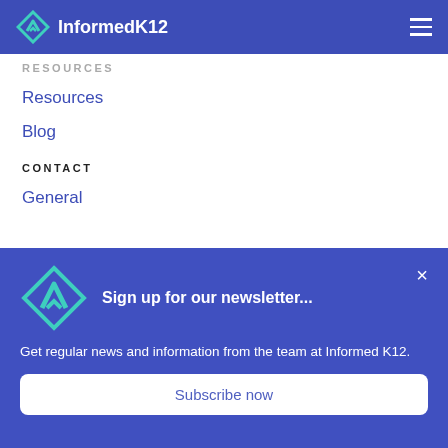InformedK12
RESOURCES
Resources
Blog
CONTACT
General
Sign up for our newsletter...
Get regular news and information from the team at Informed K12.
Subscribe now